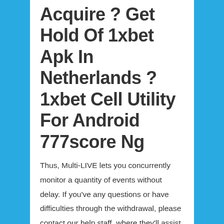Acquire ? Get Hold Of 1xbet Apk In Netherlands ? 1xbet Cell Utility For Android 777score Ng
Thus, Multi-LIVE lets you concurrently monitor a quantity of events without delay. If you've any questions or have difficulties through the withdrawal, please contact our help staff, where they'll assist you to in a few minutes. Also, 1xbet partners, agent are all the time glad to help you in each native office around the globe. 1xbet has a howl timer for the movement, which reveals the period of the continuation of the offer.